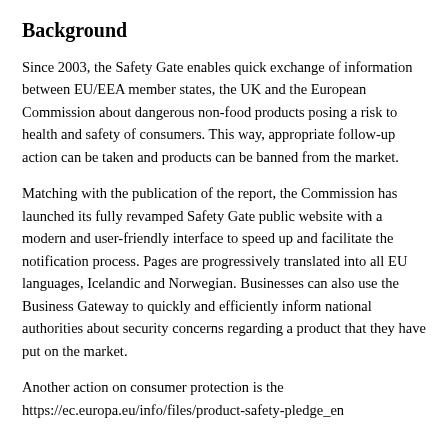Background
Since 2003, the Safety Gate enables quick exchange of information between EU/EEA member states, the UK and the European Commission about dangerous non-food products posing a risk to health and safety of consumers. This way, appropriate follow-up action can be taken and products can be banned from the market.
Matching with the publication of the report, the Commission has launched its fully revamped Safety Gate public website with a modern and user-friendly interface to speed up and facilitate the notification process. Pages are progressively translated into all EU languages, Icelandic and Norwegian. Businesses can also use the Business Gateway to quickly and efficiently inform national authorities about security concerns regarding a product that they have put on the market.
Another action on consumer protection is the https://ec.europa.eu/info/files/product-safety-pledge_en